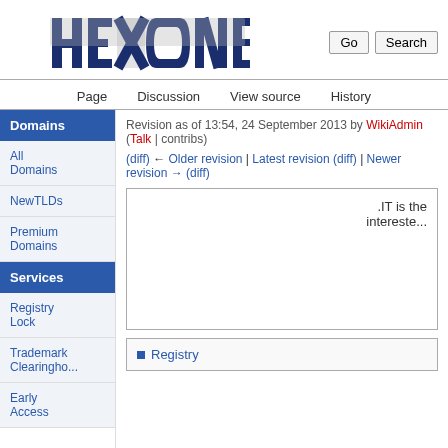HEXONET
Page | Discussion | View source | History
Revision as of 13:54, 24 September 2013 by WikiAdmin (Talk | contribs)
(diff) ← Older revision | Latest revision (diff) | Newer revision → (diff)
.IT is the interested
Domains
All Domains
NewTLDs
Premium Domains
Services
Registry Lock
Trademark Clearinghouse
Early Access
Registry